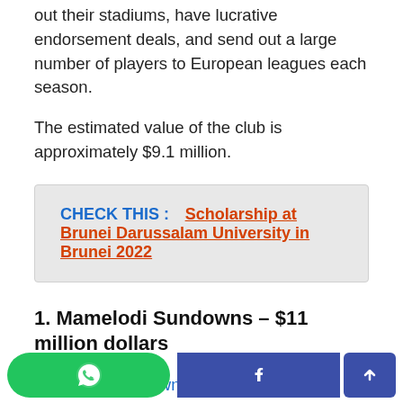out their stadiums, have lucrative endorsement deals, and send out a large number of players to European leagues each season.
The estimated value of the club is approximately $9.1 million.
CHECK THIS :    Scholarship at Brunei Darussalam University in Brunei 2022
1. Mamelodi Sundowns – $11 million dollars
Mamelodi Sundowns is one of the most successful